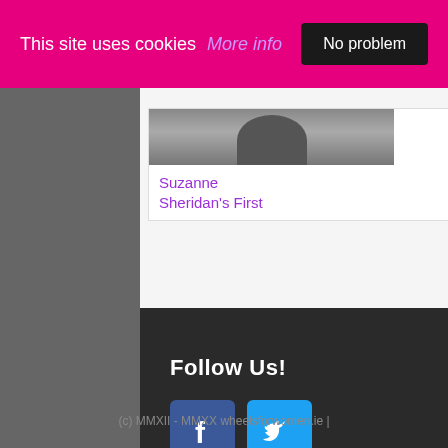This site uses cookies More info No problem
[Figure (photo): Partial view of a person's face/head, cropped at top]
Suzanne Sheridan's First
Follow Us!
[Figure (logo): Facebook icon - blue square with white F logo]
[Figure (logo): Twitter icon - light blue square with white bird logo]
(c) MMXII - MMXX wheelsforwomen.ie |